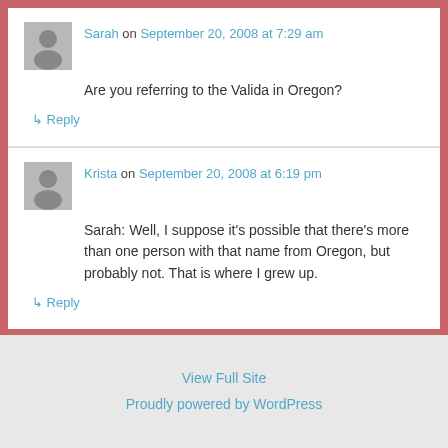Sarah on September 20, 2008 at 7:29 am
Are you referring to the Valida in Oregon?
↳ Reply
Krista on September 20, 2008 at 6:19 pm
Sarah: Well, I suppose it's possible that there's more than one person with that name from Oregon, but probably not. That is where I grew up.
↳ Reply
View Full Site
Proudly powered by WordPress